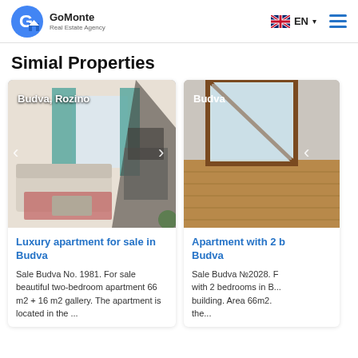GoMonte Real Estate Agency — EN
Simial Properties
[Figure (photo): Interior photo of apartment in Budva, Rozino showing living room with sofa and teal curtains, with carousel navigation arrows]
Luxury apartment for sale in Budva
Sale Budva No. 1981. For sale beautiful two-bedroom apartment 66 m2 + 16 m2 gallery. The apartment is located in the ...
[Figure (photo): Interior photo of apartment in Budva showing empty room with large angled window and wooden floor]
Apartment with 2 bedrooms in Budva
Sale Budva №2028. For sale apartment with 2 bedrooms in B... building. Area 66m2. the...